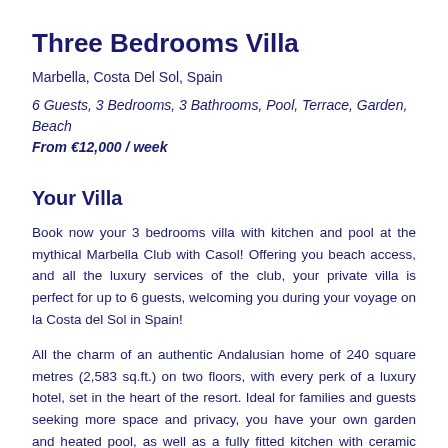Three Bedrooms Villa
Marbella, Costa Del Sol, Spain
6 Guests, 3 Bedrooms, 3 Bathrooms, Pool, Terrace, Garden, Beach
From €12,000 / week
Your Villa
Book now your 3 bedrooms villa with kitchen and pool at the mythical Marbella Club with Casol! Offering you beach access, and all the luxury services of the club, your private villa is perfect for up to 6 guests, welcoming you during your voyage on la Costa del Sol in Spain!
All the charm of an authentic Andalusian home of 240 square metres (2,583 sq.ft.) on two floors, with every perk of a luxury hotel, set in the heart of the resort. Ideal for families and guests seeking more space and privacy, you have your own garden and heated pool, as well as a fully fitted kitchen with ceramic hob, microwave,